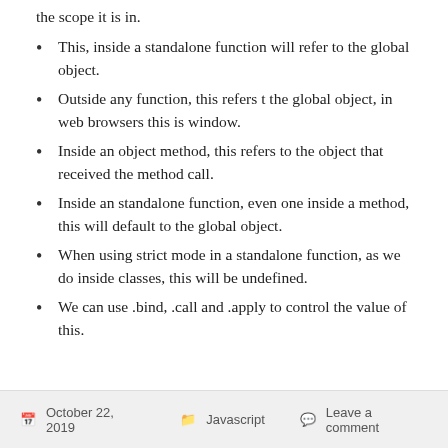the scope it is in.
This, inside a standalone function will refer to the global object.
Outside any function, this refers t the global object, in web browsers this is window.
Inside an object method, this refers to the object that received the method call.
Inside an standalone function, even one inside a method, this will default to the global object.
When using strict mode in a standalone function, as we do inside classes, this will be undefined.
We can use .bind, .call and .apply to control the value of this.
October 22, 2019   Javascript   Leave a comment